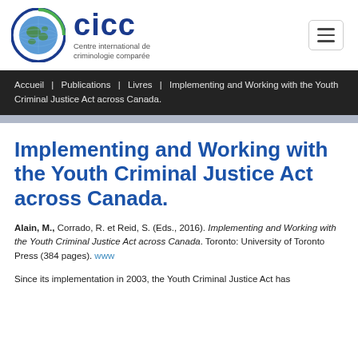[Figure (logo): CICC logo with globe icon and text 'Centre international de criminologie comparée']
Accueil | Publications | Livres | Implementing and Working with the Youth Criminal Justice Act across Canada.
Implementing and Working with the Youth Criminal Justice Act across Canada.
Alain, M., Corrado, R. et Reid, S. (Eds., 2016). Implementing and Working with the Youth Criminal Justice Act across Canada. Toronto: University of Toronto Press (384 pages). www
Since its implementation in 2003, the Youth Criminal Justice Act has